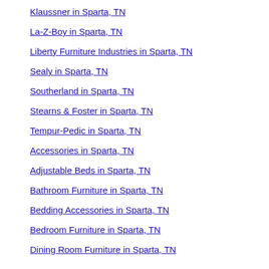Howard Miller in Sparta, TN
Klaussner in Sparta, TN
La-Z-Boy in Sparta, TN
Liberty Furniture Industries in Sparta, TN
Sealy in Sparta, TN
Southerland in Sparta, TN
Stearns & Foster in Sparta, TN
Tempur-Pedic in Sparta, TN
Accessories in Sparta, TN
Adjustable Beds in Sparta, TN
Bathroom Furniture in Sparta, TN
Bedding Accessories in Sparta, TN
Bedroom Furniture in Sparta, TN
Dining Room Furniture in Sparta, TN